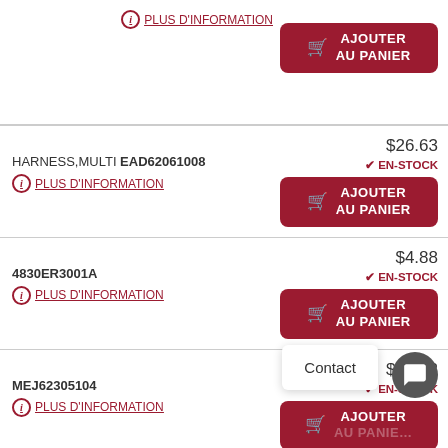[Figure (screenshot): E-commerce product listing page (French), showing partial top row with 'AJOUTER AU PANIER' button, followed by product rows: HARNESS,MULTI EAD62061008 at $26.63 EN-STOCK, 4830ER3001A at $4.88 EN-STOCK, MEJ62305104 at $24.42 EN-STOCK, and a partial last row at $4.88. A 'Contact' chat overlay is visible in the bottom-right corner.]